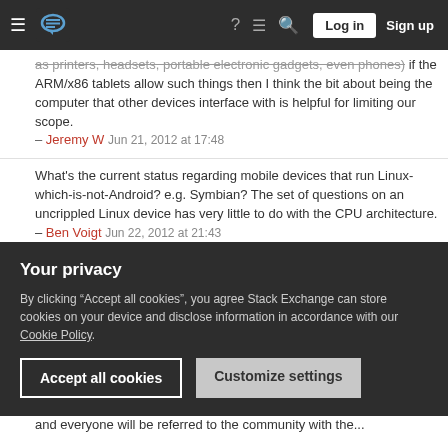Stack Exchange navigation bar with hamburger menu, logo, help, chat, search icons, Log in and Sign up buttons
as printers, headsets, portable electronic gadgets, even phones) if the ARM/x86 tablets allow such things then I think the bit about being the computer that other devices interface with is helpful for limiting our scope. – Jeremy W Jun 21, 2012 at 17:48
What's the current status regarding mobile devices that run Linux-which-is-not-Android? e.g. Symbian? The set of questions on an uncrippled Linux device has very little to do with the CPU architecture. – Ben Voigt Jun 22, 2012 at 21:43
@BenVoigt if it's about liniux, it's probably fine. If it's about the phone though, then we're not really equipped to answer it. – phinkle Jun 22, 2012 at 22:03
Your privacy
By clicking "Accept all cookies", you agree Stack Exchange can store cookies on your device and disclose information in accordance with our Cookie Policy.
Accept all cookies
Customize settings
and everyone will be referred to the community with the...